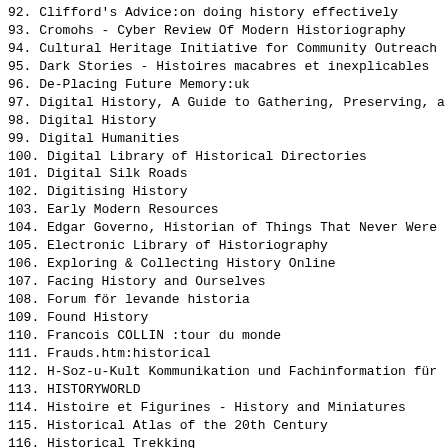92. Clifford's Advice:on doing history effectively
93. Cromohs - Cyber Review Of Modern Historiography
94. Cultural Heritage Initiative for Community Outreach
95. Dark Stories - Histoires macabres et inexplicables
96. De-Placing Future Memory:uk
97. Digital History, A Guide to Gathering, Preserving, a
98. Digital History
99. Digital Humanities
100. Digital Library of Historical Directories
101. Digital Silk Roads
102. Digitising History
103. Early Modern Resources
104. Edgar Governo, Historian of Things That Never Were
105. Electronic Library of Historiography
106. Exploring & Collecting History Online
107. Facing History and Ourselves
108. Forum för levande historia
109. Found History
110. Francois COLLIN :tour du monde
111. Frauds.htm:historical
112. H-Soz-u-Kult  Kommunikation und Fachinformation für
113. HISTORYWORLD
114. Histoire et Figurines - History and Miniatures
115. Historical Atlas of the 20th Century
116. Historical Trekking
117. History & Policy
118. History Carnival:history
119. History Is A Weapon
120. History Matters
121. History in Film